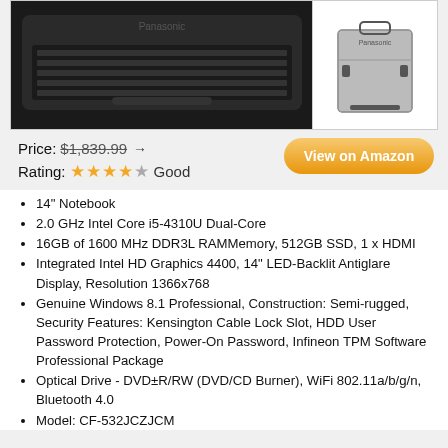[Figure (photo): Laptop product image (Panasonic Toughbook) shown from above-left angle, keyboard visible, black rugged body. Thumbnail on right shows a silver/grey carrying case.]
Price: $1,839.99 →
Rating: ★★★★☆ Good
[Figure (other): Orange 'View on Amazon' button]
14" Notebook
2.0 GHz Intel Core i5-4310U Dual-Core
16GB of 1600 MHz DDR3L RAMMemory, 512GB SSD, 1 x HDMI
Integrated Intel HD Graphics 4400, 14" LED-Backlit Antiglare Display, Resolution 1366x768
Genuine Windows 8.1 Professional, Construction: Semi-rugged, Security Features: Kensington Cable Lock Slot, HDD User Password Protection, Power-On Password, Infineon TPM Software Professional Package
Optical Drive - DVD±R/RW (DVD/CD Burner), WiFi 802.11a/b/g/n, Bluetooth 4.0
Model: CF-532JCZJCM